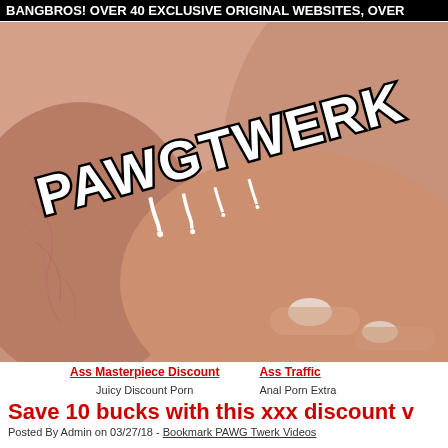BANGBROS! OVER 40 EXCLUSIVE ORIGINAL WEBSITES, OVER
[Figure (photo): Close-up adult content photo with PAWGTWERK logo text overlay in dripping white letters with black outline]
Ass Masterpiece Discount
Juicy Discount Porn
Ass Traffic
Anal Porn Extra
Save 10 bucks with this xxx discount v
Posted By Admin on 03/27/18 - Bookmark PAWG Twerk Videos